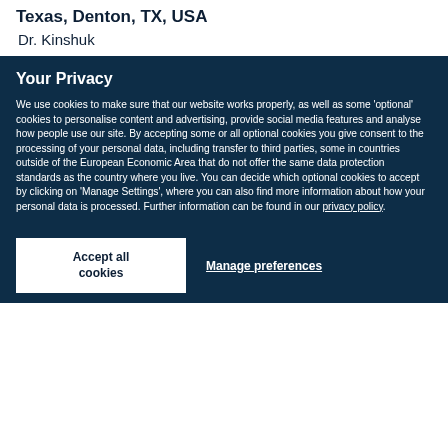Texas, Denton, TX, USA
Dr. Kinshuk
Your Privacy
We use cookies to make sure that our website works properly, as well as some 'optional' cookies to personalise content and advertising, provide social media features and analyse how people use our site. By accepting some or all optional cookies you give consent to the processing of your personal data, including transfer to third parties, some in countries outside of the European Economic Area that do not offer the same data protection standards as the country where you live. You can decide which optional cookies to accept by clicking on 'Manage Settings', where you can also find more information about how your personal data is processed. Further information can be found in our privacy policy.
Accept all cookies
Manage preferences